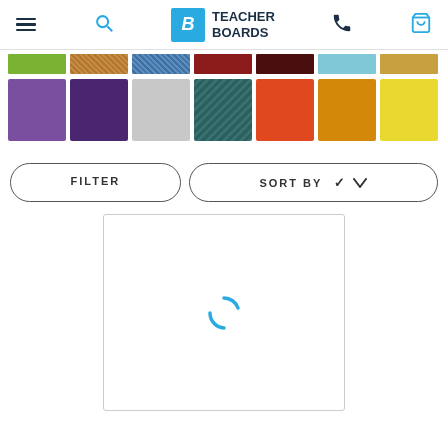Teacher Boards — navigation header with hamburger menu, search, logo, phone, and basket icons
[Figure (screenshot): Color swatch strip row 1: green, orange-textured, blue-textured, red/maroon, dark maroon, light blue ruler, gold/tan, orange-red textured, dark red textured]
[Figure (screenshot): Color swatch row 2 large squares: purple, dark purple, light grey, dark teal, orange, amber/gold, yellow]
FILTER
SORT BY
[Figure (screenshot): Loading spinner (cyan arc) inside a bordered white product placeholder box]